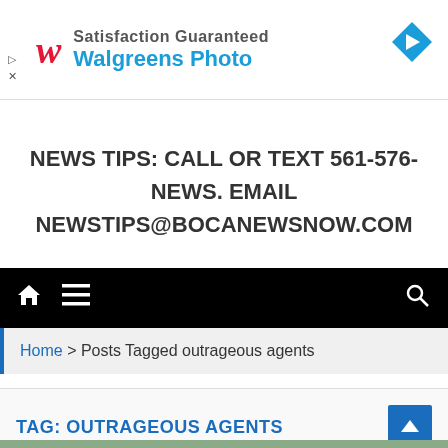[Figure (screenshot): Walgreens Photo advertisement banner with Walgreens logo (stylized W in red), text 'Satisfaction Guaranteed' and 'Walgreens Photo' in blue, with blue diamond arrow icon on the right and ad controls (play/close) on the left.]
NEWS TIPS: CALL OR TEXT 561-576-NEWS. EMAIL NEWSTIPS@BOCANEWSNOW.COM
[Figure (screenshot): Black navigation bar with white home icon, hamburger menu icon on the left, and search magnifying glass icon on the right.]
Home > Posts Tagged outrageous agents
TAG: OUTRAGEOUS AGENTS